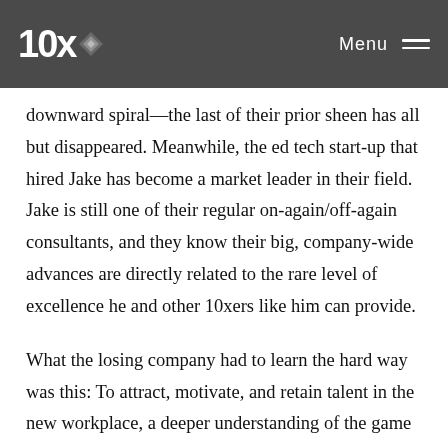10X [logo] Menu
kind of growth Jake could bring them. Today, the pharma firm in question seems to be in a downward spiral—the last of their prior sheen has all but disappeared. Meanwhile, the ed tech start-up that hired Jake has become a market leader in their field. Jake is still one of their regular on-again/off-again consultants, and they know their big, company-wide advances are directly related to the rare level of excellence he and other 10xers like him can provide.
What the losing company had to learn the hard way was this: To attract, motivate, and retain talent in the new workplace, a deeper understanding of the game